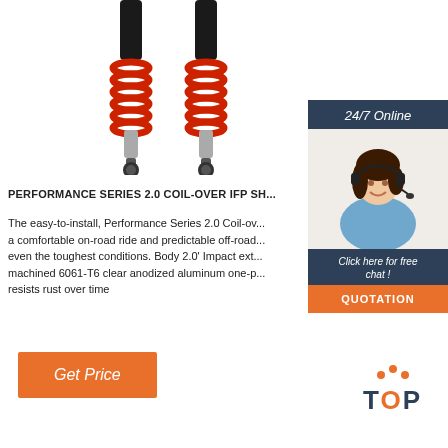[Figure (photo): Two red coil-over IFP shock absorbers with black bodies on white background]
[Figure (photo): 24/7 Online chat sidebar with woman wearing headset and quotation button]
PERFORMANCE SERIES 2.0 COIL-OVER IFP SH...
The easy-to-install, Performance Series 2.0 Coil-over... a comfortable on-road ride and predictable off-road... even the toughest conditions. Body 2.0' Impact ext... machined 6061-T6 clear anodized aluminum one-p... resists rust over time
[Figure (other): Get Price orange button]
[Figure (logo): TOP logo with orange dots and letters]